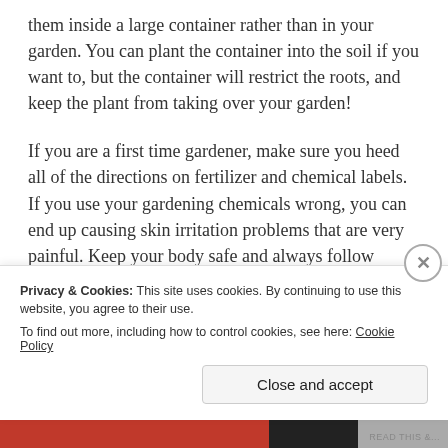them inside a large container rather than in your garden. You can plant the container into the soil if you want to, but the container will restrict the roots, and keep the plant from taking over your garden!
If you are a first time gardener, make sure you heed all of the directions on fertilizer and chemical labels. If you use your gardening chemicals wrong, you can end up causing skin irritation problems that are very painful. Keep your body safe and always follow instructions.
Do not use her to pesticide within...
Privacy & Cookies: This site uses cookies. By continuing to use this website, you agree to their use.
To find out more, including how to control cookies, see here: Cookie Policy
Close and accept